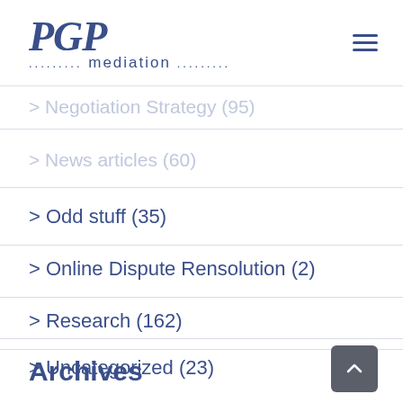PGP mediation
> Negotiation Strategy (95)
> News articles (60)
> Odd stuff (35)
> Online Dispute Rensolution (2)
> Research (162)
> Uncategorized (23)
Archives